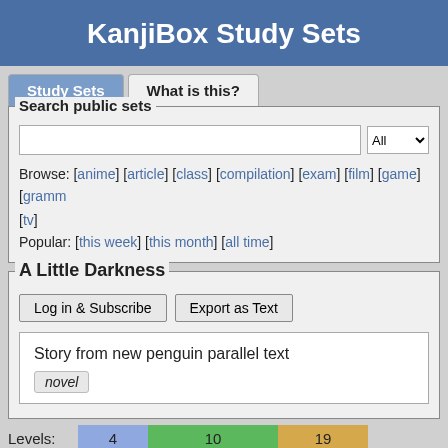KanjiBox Study Sets
Study Sets
What is this?
Search public sets
Browse: [anime] [article] [class] [compilation] [exam] [film] [game] [gramm... [tv]
Popular: [this week] [this month] [all time]
A Little Darkness
Log in & Subscribe
Export as Text
Story from new penguin parallel text
novel
Levels: 4  10  19
56 entries — Created by #50534 — Last modified: 2015-08-
⑤ 階段 • stairs, stairway, staircase